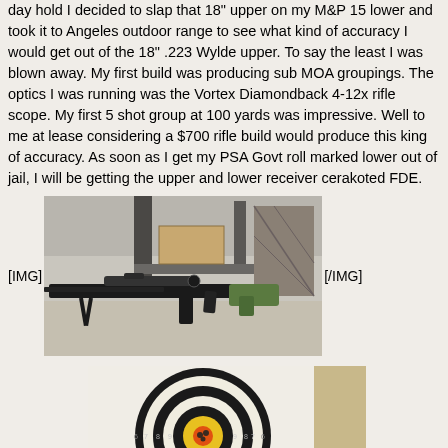day hold I decided to slap that 18" upper on my M&P 15 lower and took it to Angeles outdoor range to see what kind of accuracy I would get out of the 18" .223 Wylde upper. To say the least I was blown away. My first build was producing sub MOA groupings. The optics I was running was the Vortex Diamondback 4-12x rifle scope. My first 5 shot group at 100 yards was impressive. Well to me at lease considering a $700 rifle build would produce this king of accuracy. As soon as I get my PSA Govt roll marked lower out of jail, I will be getting the upper and lower receiver cerakoted FDE.
[Figure (photo): Photograph of an AR-15 style rifle with a scope and bipod, placed on a surface in front of a shelving unit.]
[Figure (photo): Photograph of a shooting target with concentric black and yellow circles and an orange bullseye, with bullet holes near the center.]